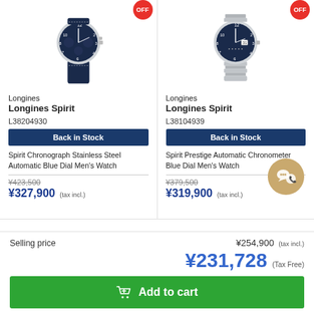[Figure (photo): Longines Spirit chronograph watch with blue dial and leather strap, shown with OFF badge]
Longines
Longines Spirit
L38204930
Back in Stock
Spirit Chronograph Stainless Steel Automatic Blue Dial Men's Watch
¥423,500
¥327,900 (tax incl.)
[Figure (photo): Longines Spirit automatic watch with blue dial and steel bracelet, shown with OFF badge]
Longines
Longines Spirit
L38104939
Back in Stock
Spirit Prestige Automatic Chronometer Blue Dial Men's Watch
¥379,500
¥319,900 (tax incl.)
Selling price
¥254,900 (tax incl.)
¥231,728 (Tax Free)
Add to cart